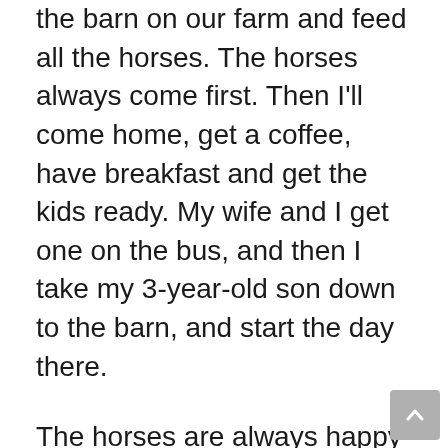the barn on our farm and feed all the horses. The horses always come first. Then I'll come home, get a coffee, have breakfast and get the kids ready. My wife and I get one on the bus, and then I take my 3-year-old son down to the barn, and start the day there.
The horses are always happy to see you when you come out every morning, and I'm just as happy to see them. It gives you a great feeling every morning that you're connecting with the horses, seeing what's going on with each one, and knowing that they are all okay.
The longer you go in the business, the more you understand the little things can go wrong each day. When you get that baseline off of feeding them, it helps relieve any anxiety you might